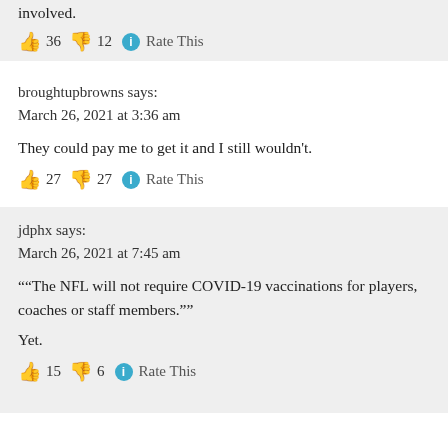involved.
👍 36 👎 12 ℹ Rate This
broughtupbrowns says:
March 26, 2021 at 3:36 am
They could pay me to get it and I still wouldn't.
👍 27 👎 27 ℹ Rate This
jdphx says:
March 26, 2021 at 7:45 am
““The NFL will not require COVID-19 vaccinations for players, coaches or staff members.””
Yet.
👍 15 👎 6 ℹ Rate This